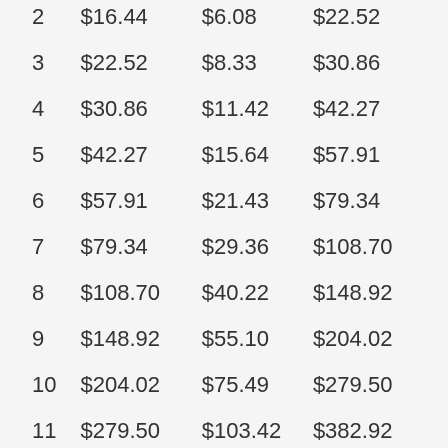| 2 | $16.44 | $6.08 | $22.52 |
| 3 | $22.52 | $8.33 | $30.86 |
| 4 | $30.86 | $11.42 | $42.27 |
| 5 | $42.27 | $15.64 | $57.91 |
| 6 | $57.91 | $21.43 | $79.34 |
| 7 | $79.34 | $29.36 | $108.70 |
| 8 | $108.70 | $40.22 | $148.92 |
| 9 | $148.92 | $55.10 | $204.02 |
| 10 | $204.02 | $75.49 | $279.50 |
| 11 | $279.50 | $103.42 | $382.92 |